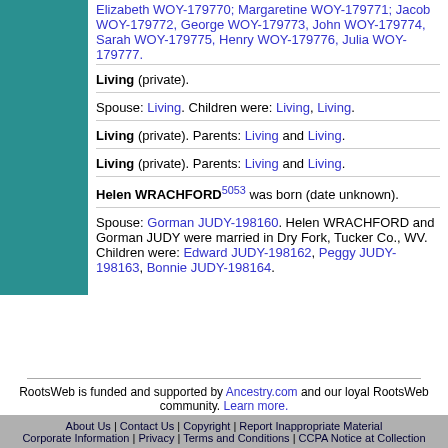Elizabeth WOY-179770; Margaretine WOY-179771; Jacob WOY-179772, George WOY-179773, John WOY-179774, Sarah WOY-179775, Henry WOY-179776, Julia WOY-179777.
Living (private).
Spouse: Living. Children were: Living, Living.
Living (private). Parents: Living and Living.
Living (private). Parents: Living and Living.
Helen WRACHFORD5053 was born (date unknown).
Spouse: Gorman JUDY-198160. Helen WRACHFORD and Gorman JUDY were married in Dry Fork, Tucker Co., WV. Children were: Edward JUDY-198162, Peggy JUDY-198163, Bonnie JUDY-198164.
RootsWeb is funded and supported by Ancestry.com and our loyal RootsWeb community. Learn more.
About Us | Contact Us | Copyright | Report Inappropriate Material
Corporate Information | Privacy | Terms and Conditions | CCPA Notice at Collection